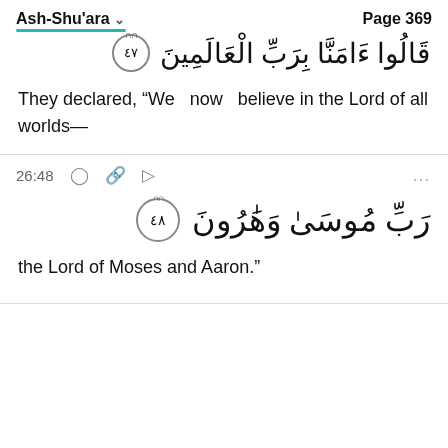Ash-Shu'ara   Page 369
[Figure (other): Arabic Quran verse 47 text: قَالُوا آمَنَّا بِرَبِّ الْعَالَمِينَ with verse number circle ornament]
They declared, “We  now  believe in the Lord of all worlds—
26:48
[Figure (other): Arabic Quran verse 48 text: رَبِّ مُوسَىٰ وَهَٰرُونَ with verse number circle ornament (٤٨)]
the Lord of Moses and Aaron.”